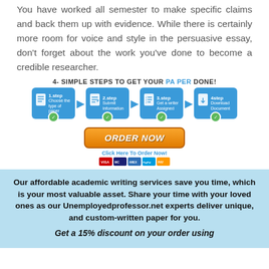You have worked all semester to make specific claims and back them up with evidence. While there is certainly more room for voice and style in the persuasive essay, don't forget about the work you've done to become a credible researcher.
[Figure (infographic): 4 simple steps to get your paper done infographic with Order Now button and payment icons]
Our affordable academic writing services save you time, which is your most valuable asset. Share your time with your loved ones as our Unemployedprofessor.net experts deliver unique, and custom-written paper for you.
Get a 15% discount on your order using...